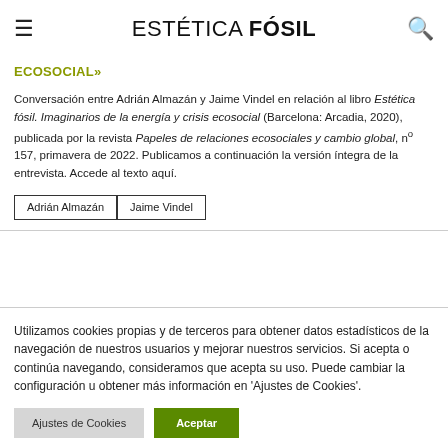ESTÉTICA FÓSIL
ENTREVISTA A JAIME VINDEL EN TORNO A SU ÚLTIMO LIBRO, «ESTÉTICA FÓSIL. IMAGINARIOS DE LA ENERGÍA Y CRISIS ECOSOCIAL»
Conversación entre Adrián Almazán y Jaime Vindel en relación al libro Estética fósil. Imaginarios de la energía y crisis ecosocial (Barcelona: Arcadia, 2020), publicada por la revista Papeles de relaciones ecosociales y cambio global, nº 157, primavera de 2022. Publicamos a continuación la versión íntegra de la entrevista. Accede al texto aquí.
Adrián Almazán
Jaime Vindel
Utilizamos cookies propias y de terceros para obtener datos estadísticos de la navegación de nuestros usuarios y mejorar nuestros servicios. Si acepta o continúa navegando, consideramos que acepta su uso. Puede cambiar la configuración u obtener más información en 'Ajustes de Cookies'.